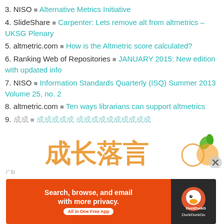3. NISO – Alternative Metrics Initiative
4. SlideShare – Carpenter: Lets remove alt from altmetrics – UKSG Plenary
5. altmetric.com – How is the Altmetric score calculated?
6. Ranking Web of Repositories – JANUARY 2015: New edition with updated info
7. NISO – Information Standards Quarterly (ISQ) Summer 2013 Volume 25, no. 2
8. altmetric.com – Ten ways librarians can support altmetrics
9. [CJK text] – [CJK link text]
[Figure (other): Partial view of a Chinese-language website logo/banner at bottom of content area]
[Figure (other): DuckDuckGo advertisement banner: Search, browse, and email with more privacy. All in One Free App.]